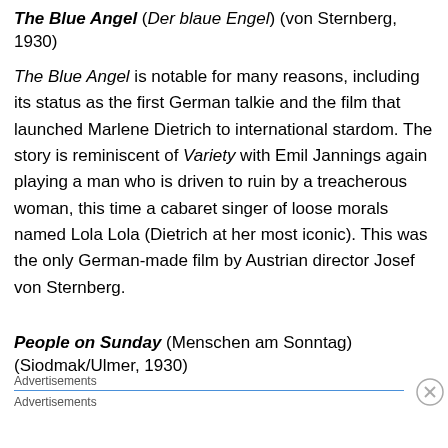The Blue Angel (Der blaue Engel) (von Sternberg, 1930)
The Blue Angel is notable for many reasons, including its status as the first German talkie and the film that launched Marlene Dietrich to international stardom. The story is reminiscent of Variety with Emil Jannings again playing a man who is driven to ruin by a treacherous woman, this time a cabaret singer of loose morals named Lola Lola (Dietrich at her most iconic). This was the only German-made film by Austrian director Josef von Sternberg.
People on Sunday (Menschen am Sonntag) (Siodmak/Ulmer, 1930)
Advertisements
Advertisements